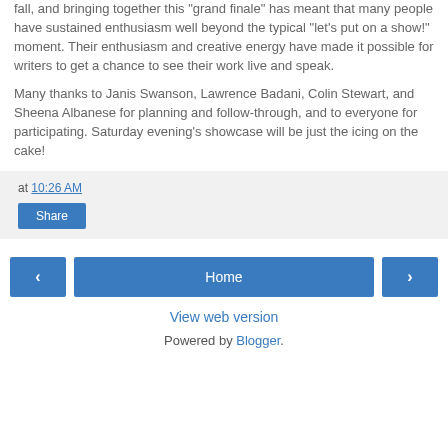fall, and bringing together this "grand finale" has meant that many people have sustained enthusiasm well beyond the typical "let's put on a show!" moment. Their enthusiasm and creative energy have made it possible for writers to get a chance to see their work live and speak.
Many thanks to Janis Swanson, Lawrence Badani, Colin Stewart, and Sheena Albanese for planning and follow-through, and to everyone for participating. Saturday evening's showcase will be just the icing on the cake!
at 10:26 AM
Share
‹
Home
›
View web version
Powered by Blogger.